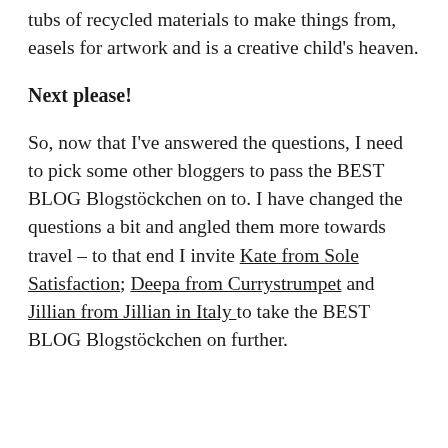tubs of recycled materials to make things from, easels for artwork and is a creative child's heaven.
Next please!
So, now that I've answered the questions, I need to pick some other bloggers to pass the BEST BLOG Blogstöckchen on to. I have changed the questions a bit and angled them more towards travel – to that end I invite Kate from Sole Satisfaction; Deepa from Currystrumpet and Jillian from Jillian in Italy to take the BEST BLOG Blogstöckchen on further.